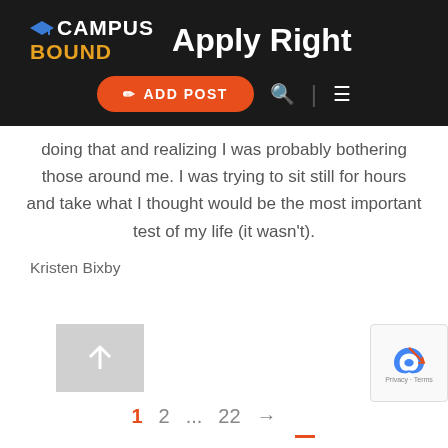Campus Bound – Apply Right
doing that and realizing I was probably bothering those around me. I was trying to sit still for hours and take what I thought would be the most important test of my life (it wasn't).
Kristen Bixby
[Figure (other): Scroll-to-top button (grey square with upward arrow)]
1  2  ...  22  →